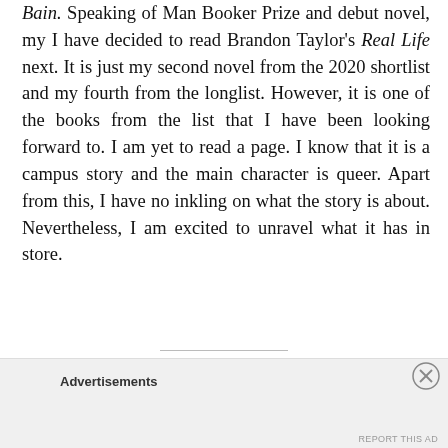Bain. Speaking of Man Booker Prize and debut novel, my I have decided to read Brandon Taylor's Real Life next. It is just my second novel from the 2020 shortlist and my fourth from the longlist. However, it is one of the books from the list that I have been looking forward to. I am yet to read a page. I know that it is a campus story and the main character is queer. Apart from this, I have no inkling on what the story is about. Nevertheless, I am excited to unravel what it has in store.
Advertisements